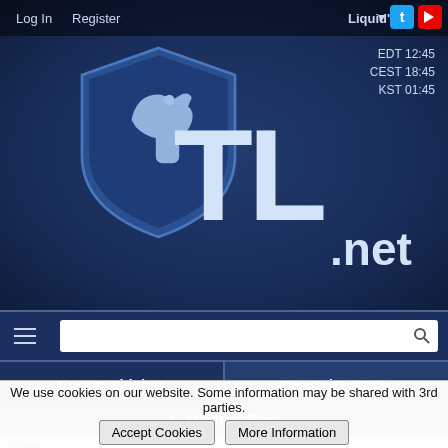Log In   Register   Liquid'   EDT 12:45   CEST 18:45   KST 01:45
[Figure (logo): TL.net Team Liquid logo with shield and horse icon, large TL text and .net below]
[Figure (screenshot): Navigation bar with hamburger menu and search box]
Forum Sidebar
Events/Features
L_Master's Blog
Blogs
We use cookies on our website. Some information may be shared with 3rd parties.   Accept Cookies   More Information